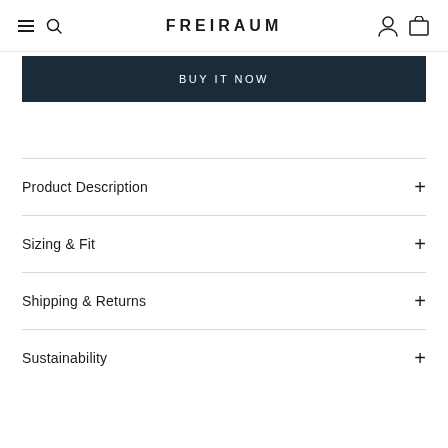FREIRAUM
BUY IT NOW
Product Description
Sizing & Fit
Shipping & Returns
Sustainability